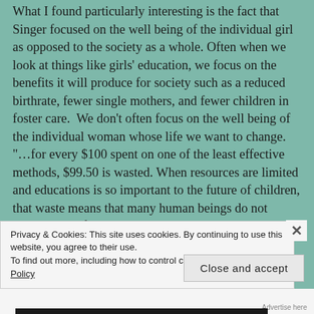What I found particularly interesting is the fact that Singer focused on the well being of the individual girl as opposed to the society as a whole. Often when we look at things like girls' education, we focus on the benefits it will produce for society such as a reduced birthrate, fewer single mothers, and fewer children in foster care. We don't often focus on the well being of the individual woman whose life we want to change. "...for every $100 spent on one of the least effective methods, $99.50 is wasted. When resources are limited and educations is so important to the future of children, that waste means that many human beings do not achieve their full potential." This quote shows the mindset behind effective altruists who expect to use resources to better
Privacy & Cookies: This site uses cookies. By continuing to use this website, you agree to their use.
To find out more, including how to control cookies, see here: Cookie Policy
Close and accept